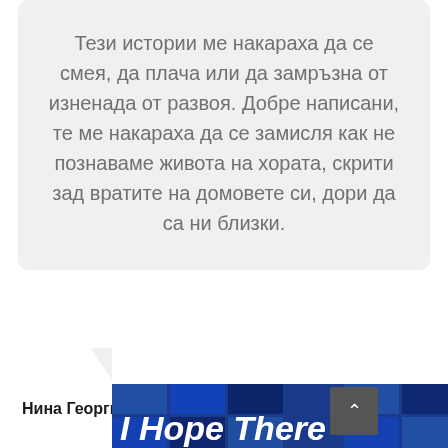Тези истории ме накараха да се смея, да плача или да замръзна от изненада от развоя. Добре написани, те ме накараха да се замисля как не познаваме живота на хората, скрити зад вратите на домовете си, дори да са ни близки.
Нина Георгиева
[Figure (illustration): Book cover showing 'I Hope There' in white bold italic text on a blue mosaic/tile background, with a dark scroll-to-top button]